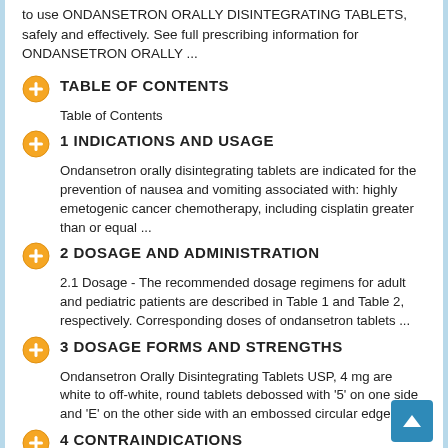to use ONDANSETRON ORALLY DISINTEGRATING TABLETS, safely and effectively. See full prescribing information for ONDANSETRON ORALLY ...
TABLE OF CONTENTS
Table of Contents
1 INDICATIONS AND USAGE
Ondansetron orally disintegrating tablets are indicated for the prevention of nausea and vomiting associated with: highly emetogenic cancer chemotherapy, including cisplatin greater than or equal ...
2 DOSAGE AND ADMINISTRATION
2.1 Dosage - The recommended dosage regimens for adult and pediatric patients are described in Table 1 and Table 2, respectively. Corresponding doses of ondansetron tablets ...
3 DOSAGE FORMS AND STRENGTHS
Ondansetron Orally Disintegrating Tablets USP, 4 mg are white to off-white, round tablets debossed with '5' on one side and 'E' on the other side with an embossed circular edge ...
4 CONTRAINDICATIONS